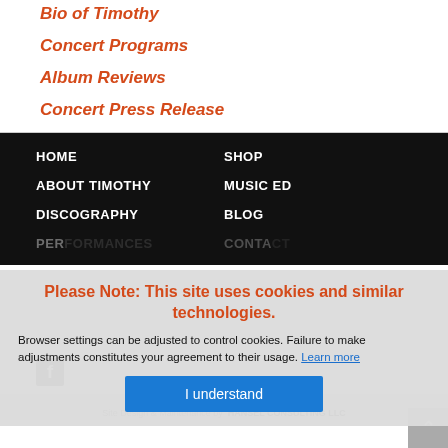Bio of Timothy
Concert Programs
Album Reviews
Concert Press Release
HOME | SHOP | ABOUT TIMOTHY | MUSIC ED | DISCOGRAPHY | BLOG | PERFORMANCES | CONTACT
Please Note: This site uses cookies and similar technologies. Browser settings can be adjusted to control cookies. Failure to make adjustments constitutes your agreement to their usage. Learn more
I understand
Copyright ... PINE WIND MUSIC, INC. Site Design & Maintenance by HANSEL CONSULTING LLC